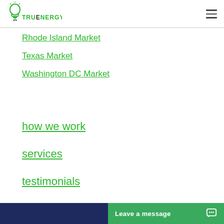[Figure (logo): TruEnergy logo with green lightbulb and green text]
Rhode Island Market
Texas Market
Washington DC Market
how we work
services
testimonials
Leave a message